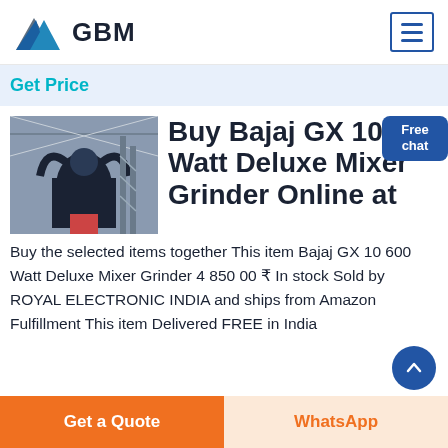[Figure (logo): GBM logo with blue/grey mountain shape and bold GBM text]
Get Price
[Figure (photo): Industrial machine/equipment inside a warehouse]
Buy Bajaj GX 10 600 Watt Deluxe Mixer Grinder Online at
Free chat
Buy the selected items together This item Bajaj GX 10 600 Watt Deluxe Mixer Grinder 4 850 00 ₹ In stock Sold by ROYAL ELECTRONIC INDIA and ships from Amazon Fulfillment This item Delivered FREE in India
Get a Quote
WhatsApp